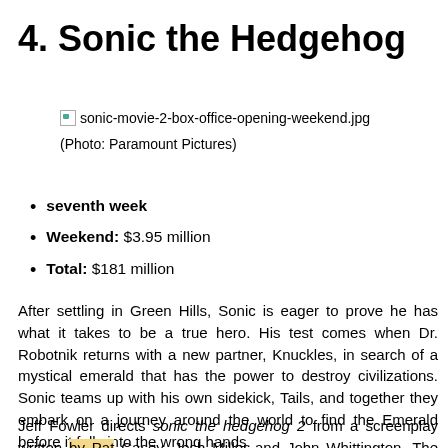4. Sonic the Hedgehog
[Figure (photo): Broken image placeholder for sonic-movie-2-box-office-opening-weekend.jpg]
(Photo: Paramount Pictures)
seventh week
Weekend: $3.95 million
Total: $181 million
After settling in Green Hills, Sonic is eager to prove he has what it takes to be a true hero. His test comes when Dr. Robotnik returns with a new partner, Knuckles, in search of a mystical emerald that has the power to destroy civilizations. Sonic teams up with his own sidekick, Tails, and together they embark on a journey around the world to find the Emerald before it falls into the wrong hands.
Jeff Fowler directs sonic the hedgehog 2 from a screenplay written by Pat Casey, Josh Miller and John Whittington. The film stars Ben Schwartz